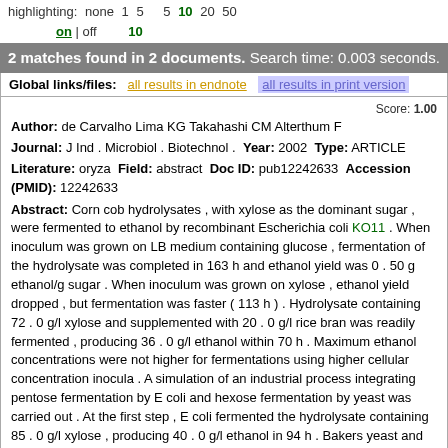highlighting: none 1 5   5 10 20 50
on | off
10
2 matches found in 2 documents. Search time: 0.003 seconds.
Global links/files:  all results in endnote  all results in print version
Score: 1.00
Author: de Carvalho Lima KG Takahashi CM Alterthum F
Journal: J Ind . Microbiol . Biotechnol . Year: 2002 Type: ARTICLE
Literature: oryza Field: abstract Doc ID: pub12242633 Accession (PMID): 12242633
Abstract: Corn cob hydrolysates , with xylose as the dominant sugar , were fermented to ethanol by recombinant Escherichia coli KO11 . When inoculum was grown on LB medium containing glucose , fermentation of the hydrolysate was completed in 163 h and ethanol yield was 0 . 50 g ethanol/g sugar . When inoculum was grown on xylose , ethanol yield dropped , but fermentation was faster ( 113 h ) . Hydrolysate containing 72 . 0 g/l xylose and supplemented with 20 . 0 g/l rice bran was readily fermented , producing 36 . 0 g/l ethanol within 70 h . Maximum ethanol concentrations were not higher for fermentations using higher cellular concentration inocula . A simulation of an industrial process integrating pentose fermentation by E coli and hexose fermentation by yeast was carried out . At the first step , E coli fermented the hydrolysate containing 85 . 0 g/l xylose , producing 40 . 0 g/l ethanol in 94 h . Bakers yeast and sucrose ( 150 . 0 g/l ) were then added to the spent fermentation broth . After 8 h of yeast fermentation , the ethanol concentration reached 104 . 0 g/l . This two-stage fermentation can render the bioconversion of